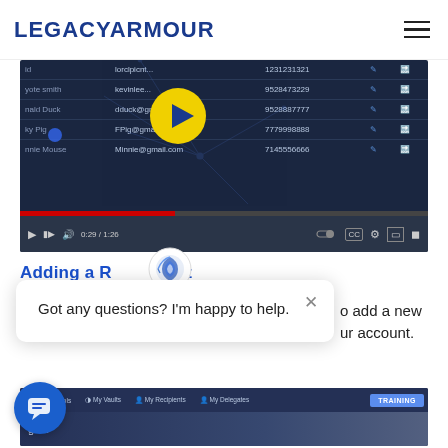LEGACYARMOUR
[Figure (screenshot): Video player screenshot showing a table of recipients with name, email, and phone columns in a dark-themed interface. A yellow circular play button is overlaid in the center. A red progress bar at bottom shows 0:29 / 1:26 elapsed.]
Adding a Recipient
[Figure (screenshot): Chat popup overlay with close X button reading 'Got any questions? I'm happy to help.' with a chatbot logo icon overlapping the section header. Partially visible text to the right reads 'o add a new ur account.' A second video screenshot below shows a navigation bar with Planning Tools, My Vaults, My Recipients, My Delegates tabs, a blue TRAINING button, and 'gate' text.]
Got any questions? I'm happy to help.
o add a new ur account.